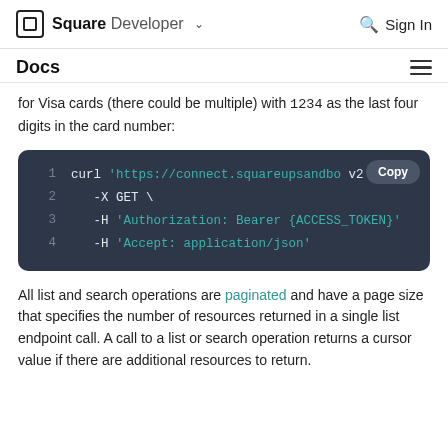Square Developer  Sign In
Docs
for Visa cards (there could be multiple) with 1234 as the last four digits in the card number:
[Figure (screenshot): Code block on dark background showing a curl GET request with Authorization and Accept headers. Line 1: curl 'https://connect.squareupsandbo... v2... Line 2: -X GET \ Line 3: -H 'Authorization: Bearer {ACCESS_TOKEN}' Line 4: -H 'Accept: application/json']
All list and search operations are paginated and have a page size that specifies the number of resources returned in a single list endpoint call. A call to a list or search operation returns a cursor value if there are additional resources to return.